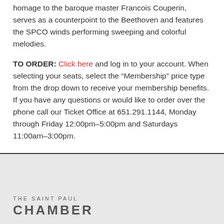homage to the baroque master Francois Couperin, serves as a counterpoint to the Beethoven and features the SPCO winds performing sweeping and colorful melodies.
TO ORDER: Click here and log in to your account. When selecting your seats, select the “Membership” price type from the drop down to receive your membership benefits. If you have any questions or would like to order over the phone call our Ticket Office at 651.291.1144, Monday through Friday 12:00pm–5:00pm and Saturdays 11:00am–3:00pm.
THE SAINT PAUL CHAMBER